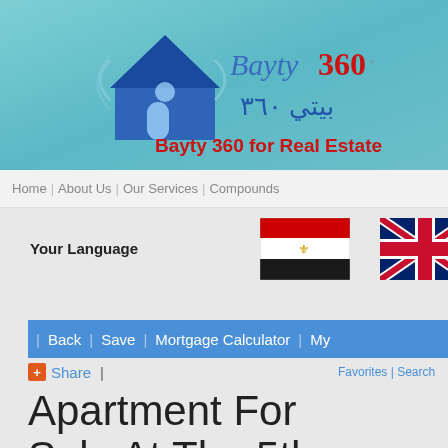[Figure (logo): Bayty 360 for Real Estate logo with house icon, Arabic text, and red/blue branding on teal gradient background]
Home | About Us | Our Services | Compounds
Your Language
[Figure (illustration): Egyptian flag (red, white, black horizontal stripes with golden eagle)]
[Figure (illustration): UK flag (Union Jack)]
| Back | Save | Mortgage Calculator | My
+Share |  Favorites | Search
Apartment For Sale At The 5th